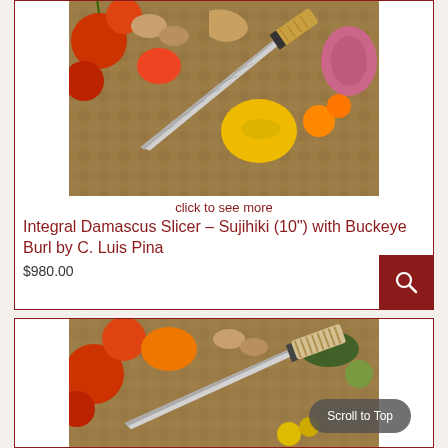[Figure (photo): Damascus slicer knife with buckeye burl handle displayed on a wooden cutting board surrounded by colorful vegetables including tomatoes, peppers, mushrooms, and onions.]
click to see more
Integral Damascus Slicer – Sujihiki (10") with Buckeye Burl by C. Luis Pina
$980.00
[Figure (photo): Damascus knife with wrapped handle displayed on a wooden cutting board surrounded by colorful vegetables including tomatoes, peppers, and mushrooms.]
Scroll to Top